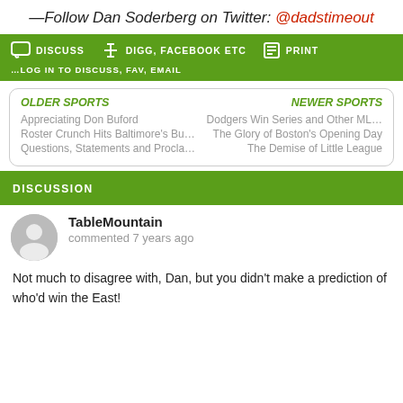—Follow Dan Soderberg on Twitter: @dadstimeout
DISCUSS   DIGG, FACEBOOK ETC   PRINT
…LOG IN TO DISCUSS, FAV, EMAIL
OLDER SPORTS   NEWER SPORTS
Appreciating Don Buford
Dodgers Win Series and Other ML...
Roster Crunch Hits Baltimore's Bu...
The Glory of Boston's Opening Day
Questions, Statements and Procla...
The Demise of Little League
DISCUSSION
TableMountain
commented 7 years ago
Not much to disagree with, Dan, but you didn't make a prediction of who'd win the East!